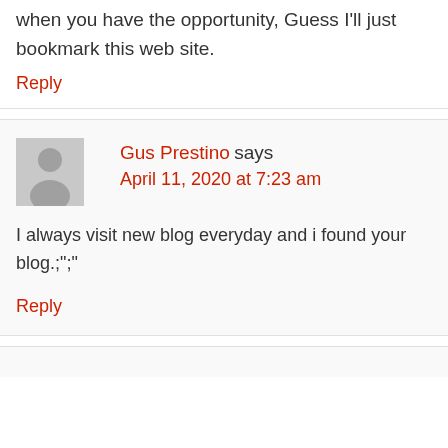when you have the opportunity, Guess I'll just bookmark this web site.
Reply
Gus Prestino says
April 11, 2020 at 7:23 am
I always visit new blog everyday and i found your blog.;";"
Reply